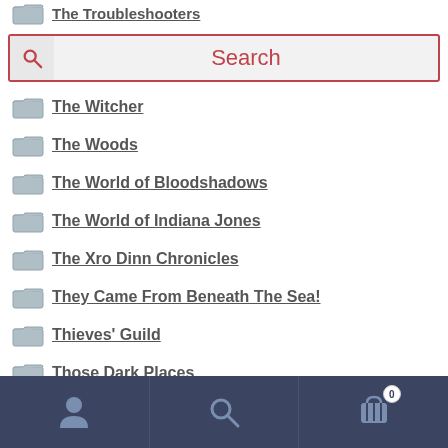[Figure (screenshot): Search bar with magnifying glass icon and 'Search' placeholder text, outlined with red border]
The Witcher
The Woods
The World of Bloodshadows
The World of Indiana Jones
The Xro Dinn Chronicles
They Came From Beneath The Sea!
Thieves' Guild
Those Dark Places
Time Master
Timelords
[Figure (screenshot): Bottom navigation bar with user icon, search icon, and cart icon with badge showing 0]